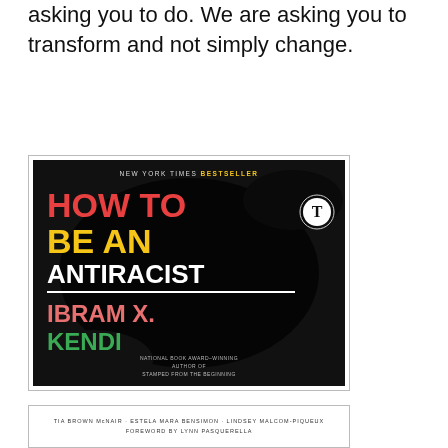asking you to do. We are asking you to transform and not simply change.
[Figure (photo): Book cover of 'How to Be an Antiracist' by Ibram X. Kendi, New York Times Bestseller. Dark/black background with bold colorful title text. Red 'HOW TO', yellow 'BE AN', white 'ANTIRACIST', pink 'IBRAM X.', green 'KENDI'. National Book Award-winning author of Stamped from the Beginning.]
[Figure (photo): Partial view of another book cover showing authors: Tia Brown McNair, Estela Mara Bensimon, Lindsey Malcom-Piqueux, Foreword by Lynn Pasquerella]